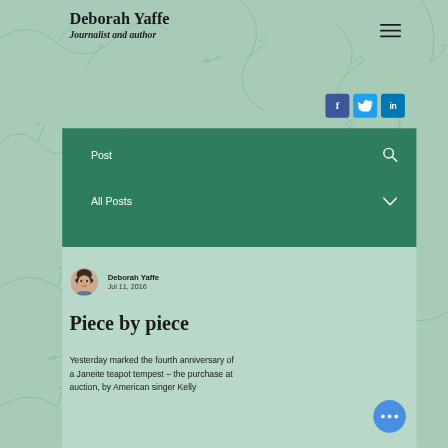Deborah Yaffe — Journalist and author
Piece by piece
Deborah Yaffe
Jul 11, 2016
Yesterday marked the fourth anniversary of a Janeite teapot tempest – the purchase at auction, by American singer Kelly